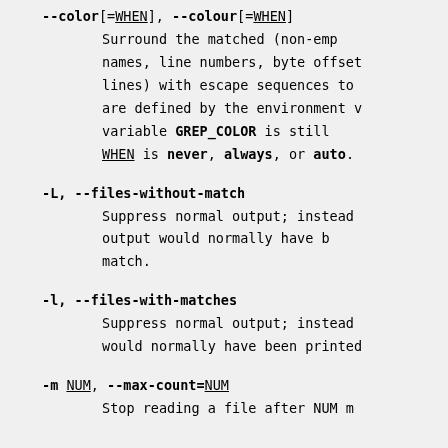--color[=WHEN], --colour[=WHEN]
    Surround the matched (non-emp
    names, line numbers, byte offset
    lines) with escape sequences to
    are defined by the environment v
    variable GREP_COLOR is still
    WHEN is never, always, or auto.
-L, --files-without-match
    Suppress normal output; instead
    output would normally have b
    match.
-l, --files-with-matches
    Suppress normal output; instead
    would normally have been printed
-m NUM, --max-count=NUM
    Stop reading a file after NUM m